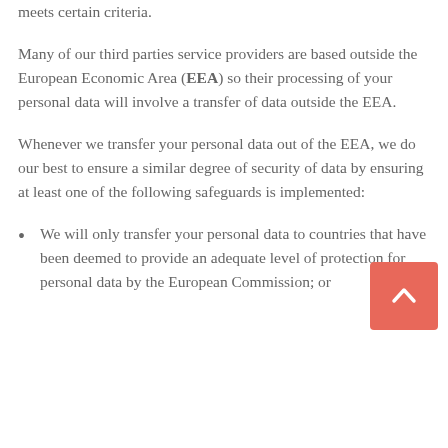outside of the EEA unless the transfer meets certain criteria.
Many of our third parties service providers are based outside the European Economic Area (EEA) so their processing of your personal data will involve a transfer of data outside the EEA.
Whenever we transfer your personal data out of the EEA, we do our best to ensure a similar degree of security of data by ensuring at least one of the following safeguards is implemented:
We will only transfer your personal data to countries that have been deemed to provide an adequate level of protection for personal data by the European Commission; or